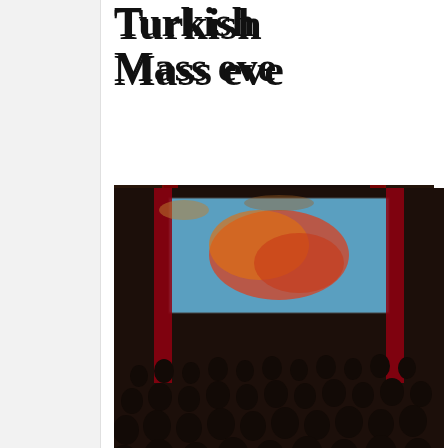Turkish … Mass eve…
[Figure (photo): A packed auditorium or cinema hall viewed from the back, audience seated facing a large illuminated screen displaying a colorful image, with red banners on either side, taken in low light.]
The event in An… speech in memo…
Read more »